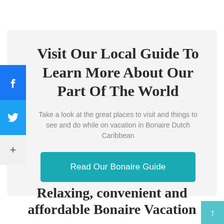Visit Our Local Guide To Learn More About Our Part Of The World
Take a look at the great places to visit and things to see and do while on vacation in Bonaire Dutch Caribbean
Read Our Bonaire Guide
Relaxing, convenient and affordable Bonaire Vacation